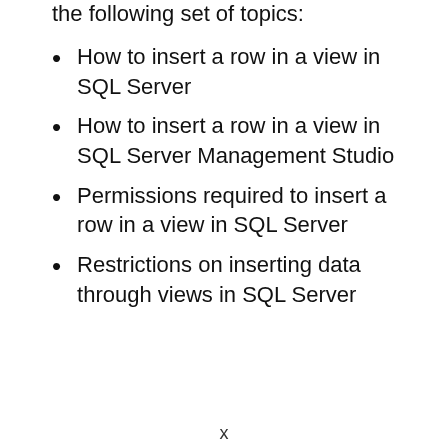the following set of topics:
How to insert a row in a view in SQL Server
How to insert a row in a view in SQL Server Management Studio
Permissions required to insert a row in a view in SQL Server
Restrictions on inserting data through views in SQL Server
x